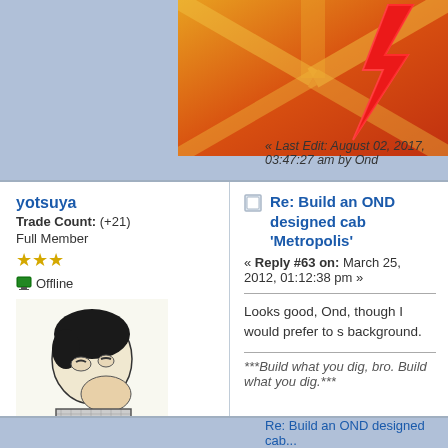[Figure (illustration): Forum banner graphic with orange/red gradient rays and a red lightning bolt on the right side]
« Last Edit: August 02, 2017, 03:47:27 am by Ond
yotsuya
Trade Count: (+21)
Full Member
[Figure (photo): User avatar: black and white illustration of a person examining something closely]
Posts: 19890
Last login: Yesterday at 10:47:10 pm
2014 UCA Winner, 2014, 2015, 2016 ZapCon Winner
[Figure (photo): Small badge/award thumbnail image]
Re: Build an OND designed cab 'Metropolis'
« Reply #63 on: March 25, 2012, 01:12:38 pm »
Looks good, Ond, though I would prefer to s background.
***Build what you dig, bro. Build what you dig.***